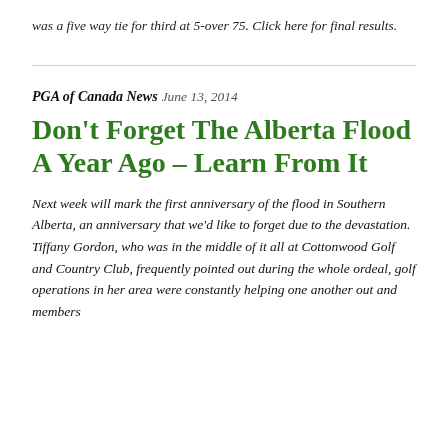was a five way tie for third at 5-over 75. Click here for final results.
PGA of Canada News
June 13, 2014
Don't Forget The Alberta Flood A Year Ago – Learn From It
Next week will mark the first anniversary of the flood in Southern Alberta, an anniversary that we'd like to forget due to the devastation. Tiffany Gordon, who was in the middle of it all at Cottonwood Golf and Country Club, frequently pointed out during the whole ordeal, golf operations in her area were constantly helping one another out and members